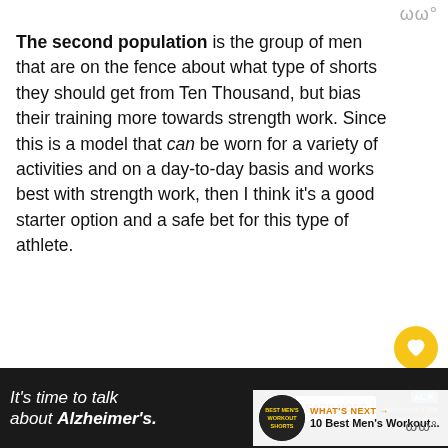ωω°
The second population is the group of men that are on the fence about what type of shorts they should get from Ten Thousand, but bias their training more towards strength work. Since this is a model that can be worn for a variety of activities and on a day-to-day basis and works best with strength work, then I think it's a good starter option and a safe bet for this type of athlete.
[Figure (photo): Close-up photo of dark gray athletic shorts, showing the waistband and upper portion of the shorts against a light background]
[Figure (screenshot): What's Next thumbnail showing '10 Best Men's Workout...' with a circular thumbnail of workout shorts]
[Figure (other): Advertisement banner: It's time to talk about Alzheimer's. with LEARN MORE button and Alzheimer's Association logo]